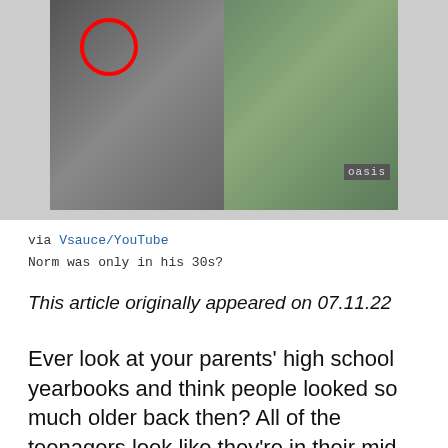[Figure (photo): Two side-by-side photos. Left photo shows a man in a suit holding a cup with a red circle drawn around something. Right photo shows a young person sitting outdoors with an Oasis logo visible on clothing.]
via Vsauce/YouTube
Norm was only in his 30s?
This article originally appeared on 07.11.22
Ever look at your parents' high school yearbooks and think people looked so much older back then? All of the teenagers look like they're in their mid-30s and the teachers who are 50 look